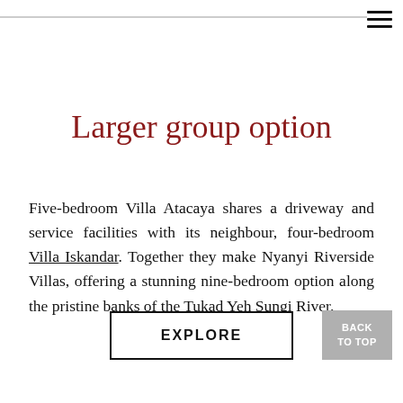Larger group option
Five-bedroom Villa Atacaya shares a driveway and service facilities with its neighbour, four-bedroom Villa Iskandar. Together they make Nyanyi Riverside Villas, offering a stunning nine-bedroom option along the pristine banks of the Tukad Yeh Sungi River.
EXPLORE